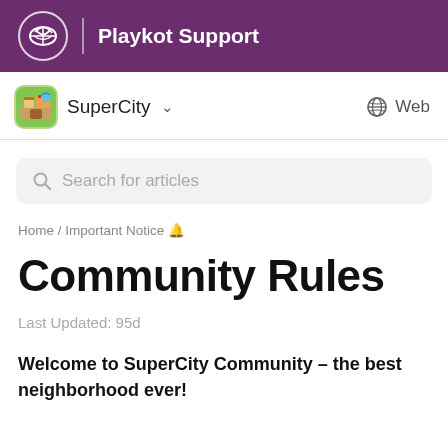Playkot Support
SuperCity ∨  Web
Search for articles
Home / Important Notice 🔔
Community Rules
Last Updated: 95d
Welcome to SuperCity Community – the best neighborhood ever!